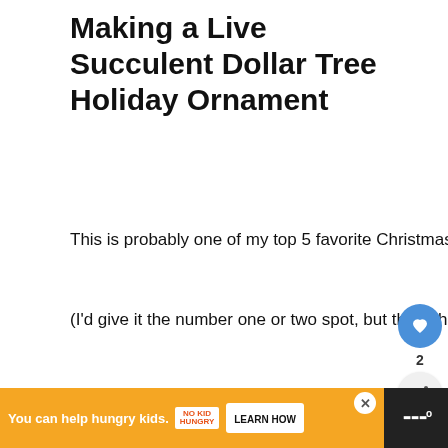Making a Live Succulent Dollar Tree Holiday Ornament
This is probably one of my top 5 favorite Christmas crafts of all-time.
(I'd give it the number one or two spot, but those handprint crafts always get me!)
[Figure (photo): Photo of silver holiday ornament cups with green succulent/ball decorations on a white surface, with a 'What's Next' overlay showing Glick's Greenhouse thumbnail]
Ad: You can help hungry kids. NO KID HUNGRY. LEARN HOW